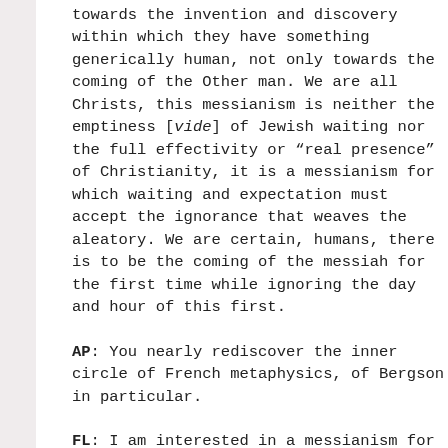towards the invention and discovery within which they have something generically human, not only towards the coming of the Other man. We are all Christs, this messianism is neither the emptiness [vide] of Jewish waiting nor the full effectivity or "real presence" of Christianity, it is a messianism for which waiting and expectation must accept the ignorance that weaves the aleatory. We are certain, humans, there is to be the coming of the messiah for the first time while ignoring the day and hour of this first.
AP: You nearly rediscover the inner circle of French metaphysics, of Bergson in particular.
FL: I am interested in a messianism for which creation is the object of waiting and waiting